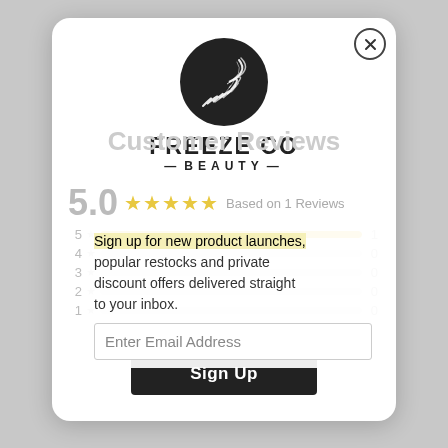[Figure (logo): Freeze Co Beauty logo — black circle with white feather/brush stroke, brand name FREEZE CO BEAUTY below in black bold lettering with dashes flanking BEAUTY]
Customer Reviews
5.0  ★★★★★  Based on 1 Reviews
Sign up for new product launches, popular restocks and private discount offers delivered straight to your inbox.
Enter Email Address
✏ Write a Review
Sign Up